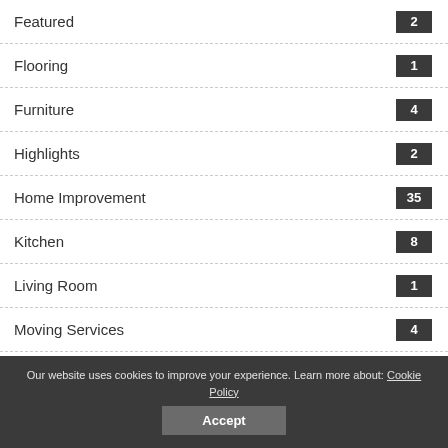Featured 2
Flooring 1
Furniture 4
Highlights 2
Home Improvement 35
Kitchen 8
Living Room 1
Moving Services 4
Pest Control 3
Our website uses cookies to improve your experience. Learn more about: Cookie Policy
Accept